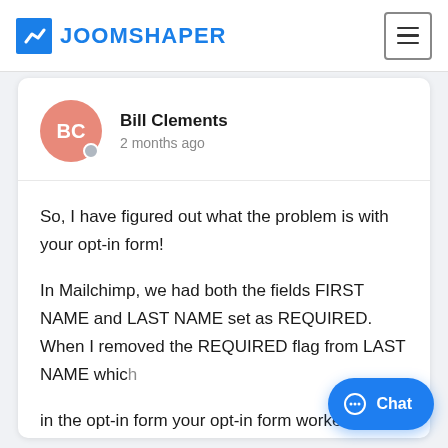JOOMSHAPER
Bill Clements
2 months ago
So, I have figured out what the problem is with your opt-in form!

In Mailchimp, we had both the fields FIRST NAME and LAST NAME set as REQUIRED. When I removed the REQUIRED flag from LAST NAME which in the opt-in form your opt-in form worke